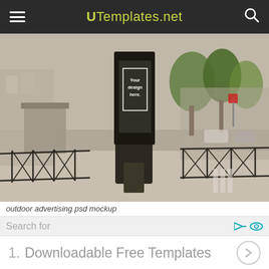UTemplates.net
[Figure (photo): Outdoor advertising display/totem billboard mockup on a city street sidewalk with iron fence, trees, and traffic in background. The billboard shows a placeholder with text 'Your design here.']
outdoor advertising psd mockup
Search for
1.  Downloadable Free Templates